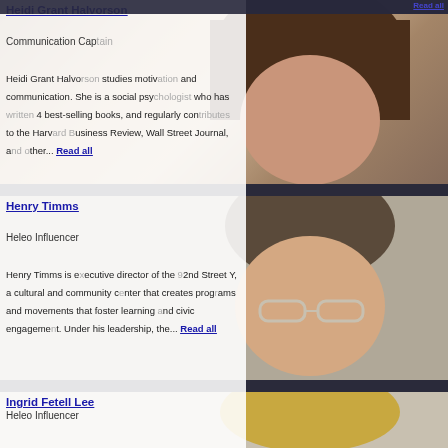Read all
Heidi Grant Halvorson
Communication Captain
Heidi Grant Halvorson studies motivation and communication. She is a social psychologist who has written 4 best-selling books, and regularly contributes to the Harvard Business Review, Wall Street Journal, and other... Read all
Henry Timms
Heleo Influencer
Henry Timms is executive director of the 92nd Street Y, a cultural and community center that creates programs and movements that foster learning and civic engagement. Under his leadership, the... Read all
Ingrid Fetell Lee
Heleo Influencer